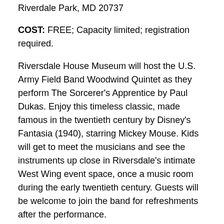Riverdale Park, MD 20737
COST: FREE; Capacity limited; registration required.
Riversdale House Museum will host the U.S. Army Field Band Woodwind Quintet as they perform The Sorcerer's Apprentice by Paul Dukas. Enjoy this timeless classic, made famous in the twentieth century by Disney's Fantasia (1940), starring Mickey Mouse. Kids will get to meet the musicians and see the instruments up close in Riversdale's intimate West Wing event space, once a music room during the early twentieth century. Guests will be welcome to join the band for refreshments after the performance.
WHAT: Seventh Annual Artists on the Rise Exhibition Reception
WHEN: Saturday, March 9, 2019, 1 PM – 3PM
WHERE: Montpelier Arts Center, 9652 Muirkirk Rd Laurel, MD 20708
COST: FREE